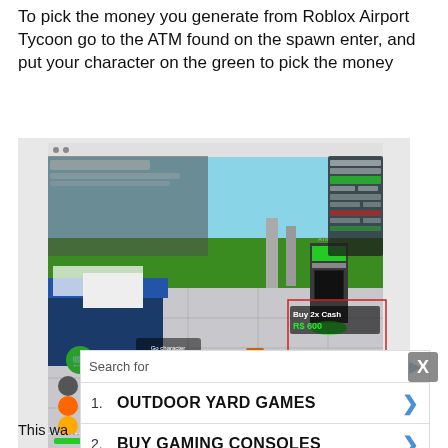To pick the money you generate from Roblox Airport Tycoon go to the ATM found on the spawn enter, and put your character on the green to pick the money
[Figure (screenshot): Roblox Airport Tycoon gameplay screenshot showing a character near an ATM with green money pads on the floor. Green oval money pads visible, ATM machine showing 'Buy 2x Cash R$ 600', UI overlays including shopping cart and social icons on the left, and a game stats panel on the right.]
[Figure (screenshot): Advertisement overlay: Search bar with 'Search for' text and play icon, list items: 1. OUTDOOR YARD GAMES with arrow, 2. BUY GAMING CONSOLES with arrow, footer: Yahoo! Search | Sponsored. Close button X in grey on the right.]
This wa... our own Ai...